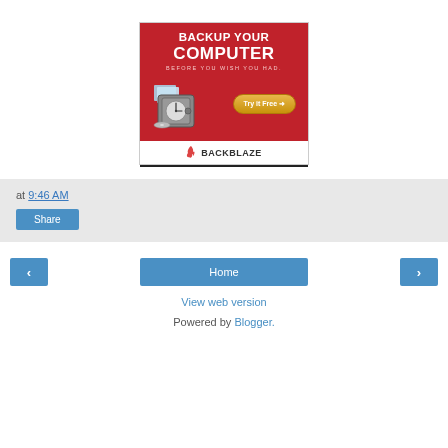[Figure (illustration): Backblaze advertisement: red background with text BACKUP YOUR COMPUTER BEFORE YOU WISH YOU HAD. Shows a safe/vault with photos and a clock, a Try it Free button, and BACKBLAZE logo at the bottom on white background.]
at 9:46 AM
Share
‹
Home
›
View web version
Powered by Blogger.